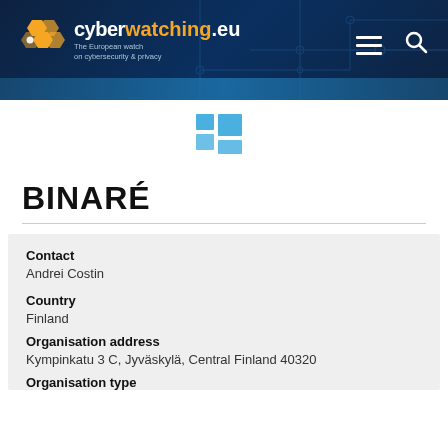[Figure (logo): cyberwatching.eu logo with hexagon honeycomb icon in orange and white, text reads cyberwatching.eu with subtitle The European watch on cybersecurity & privacy, on dark navy background with circuit board imagery, hamburger menu icon and search icon on the right]
[Figure (logo): Windows-style logo made of blue squares, centered below the header]
BINARÉ
Contact
Andrei Costin
Country
Finland
Organisation address
Kympinkatu 3 C, Jyväskylä, Central Finland 40320
Organisation type